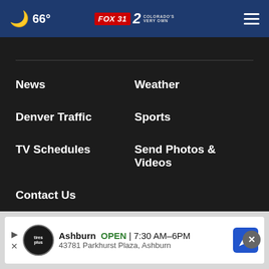🌙 66° FOX 31 2 COLORADO'S VERY OWN ≡
News
Weather
Denver Traffic
Sports
TV Schedules
Send Photos & Videos
Contact Us
KDVR Online Public File
KWGN-TV Online Public File
KDVR C...
Programming
[Figure (screenshot): Advertisement banner showing Tires Plus logo, Ashburn location OPEN 7:30 AM–6PM, 43781 Parkhurst Plaza Ashburn, with navigation arrow icon]